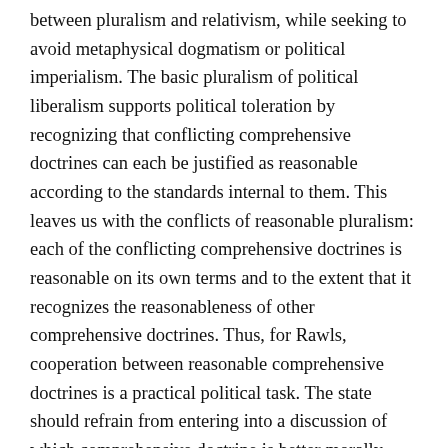between pluralism and relativism, while seeking to avoid metaphysical dogmatism or political imperialism. The basic pluralism of political liberalism supports political toleration by recognizing that conflicting comprehensive doctrines can each be justified as reasonable according to the standards internal to them. This leaves us with the conflicts of reasonable pluralism: each of the conflicting comprehensive doctrines is reasonable on its own terms and to the extent that it recognizes the reasonableness of other comprehensive doctrines. Thus, for Rawls, cooperation between reasonable comprehensive doctrines is a practical political task. The state should refrain from entering into a discussion of which comprehensive doctrine is better morally, epistemologically, or metaphysically quite simply because such a discussion would be unjust for a neutral state confronted with the fact of diversity. By defining his account of state neutrality as political, Rawls wants to distance his account of reasonable pluralism from a more robust form of philosophical skepticism. This is reminiscent